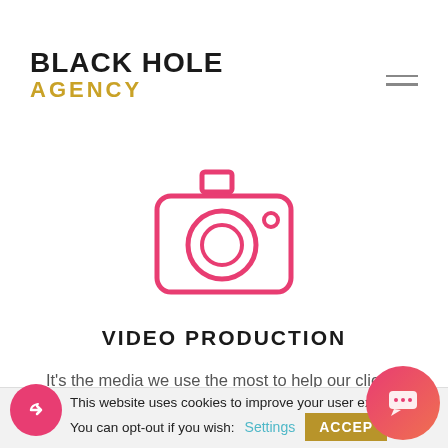BLACK HOLE AGENCY
[Figure (illustration): Pink outline camera icon]
VIDEO PRODUCTION
It's the media we use the most to help our clients promote their business. We create perfectly tailored videos which engage with your audience and grow your brand awareness.
This website uses cookies to improve your user expe… You can opt-out if you wish: Settings ACCEPT